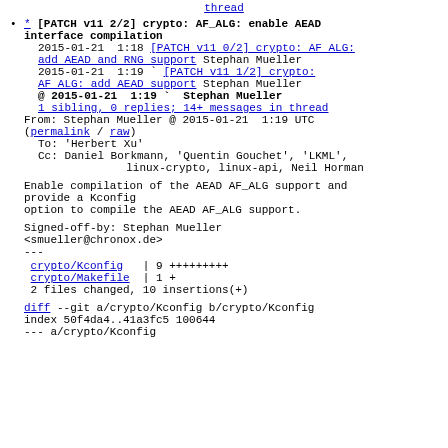thread
* [PATCH v11 2/2] crypto: AF_ALG: enable AEAD interface compilation
2015-01-21  1:18  [PATCH v11 0/2] crypto: AF ALG: add AEAD and RNG support  Stephan Mueller
2015-01-21  1:19  `  [PATCH v11 1/2] crypto: AF ALG: add AEAD support  Stephan Mueller
@ 2015-01-21  1:19  `  Stephan Mueller
  1 sibling, 0 replies; 14+ messages in thread
From: Stephan Mueller @ 2015-01-21  1:19 UTC
(permalink / raw)
To: 'Herbert Xu'
Cc: Daniel Borkmann, 'Quentin Gouchet', 'LKML',
         linux-crypto, linux-api, Neil Horman

Enable compilation of the AEAD AF_ALG support and provide a Kconfig
option to compile the AEAD AF_ALG support.

Signed-off-by: Stephan Mueller
<smueller@chronox.de>
---
 crypto/Kconfig   | 9 +++++++++
 crypto/Makefile  | 1 +
 2 files changed, 10 insertions(+)

diff --git a/crypto/Kconfig b/crypto/Kconfig
index 50f4da4..41a3fc5 100644
--- a/crypto/Kconfig